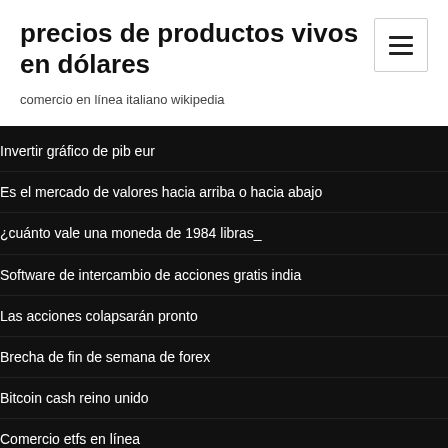precios de productos vivos en dólares
comercio en línea italiano wikipedia
Invertir gráfico de pib eur
Es el mercado de valores hacia arriba o hacia abajo
¿cuánto vale una moneda de 1984 libras_
Software de intercambio de acciones gratis india
Las acciones colapsarán pronto
Brecha de fin de semana de forex
Bitcoin cash reino unido
Comercio etfs en línea
Indikator forex gratis